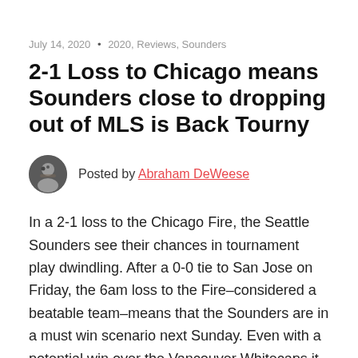July 14, 2020 • 2020, Reviews, Sounders
2-1 Loss to Chicago means Sounders close to dropping out of MLS is Back Tourny
Posted by Abraham DeWeese
In a 2-1 loss to the Chicago Fire, the Seattle Sounders see their chances in tournament play dwindling. After a 0-0 tie to San Jose on Friday, the 6am loss to the Fire–considered a beatable team–means that the Sounders are in a must win scenario next Sunday. Even with a potential win over the Vancouver Whitecaps it may not be